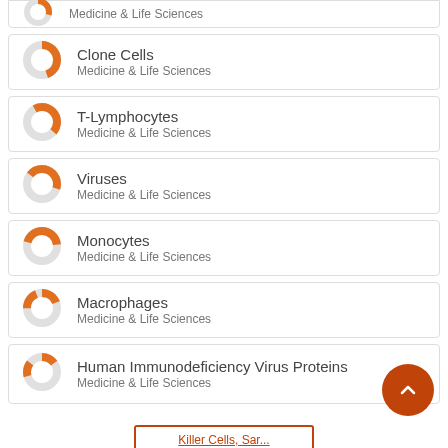Medicine & Life Sciences
Clone Cells
Medicine & Life Sciences
T-Lymphocytes
Medicine & Life Sciences
Viruses
Medicine & Life Sciences
Monocytes
Medicine & Life Sciences
Macrophages
Medicine & Life Sciences
Human Immunodeficiency Virus Proteins
Medicine & Life Sciences